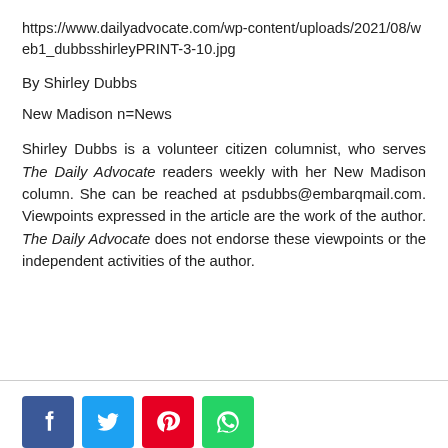https://www.dailyadvocate.com/wp-content/uploads/2021/08/web1_dubbsshirleyPRINT-3-10.jpg
By Shirley Dubbs
New Madison n=News
Shirley Dubbs is a volunteer citizen columnist, who serves The Daily Advocate readers weekly with her New Madison column. She can be reached at psdubbs@embarqmail.com. Viewpoints expressed in the article are the work of the author. The Daily Advocate does not endorse these viewpoints or the independent activities of the author.
[Figure (other): Social media share buttons: Facebook, Twitter, Pinterest, WhatsApp]